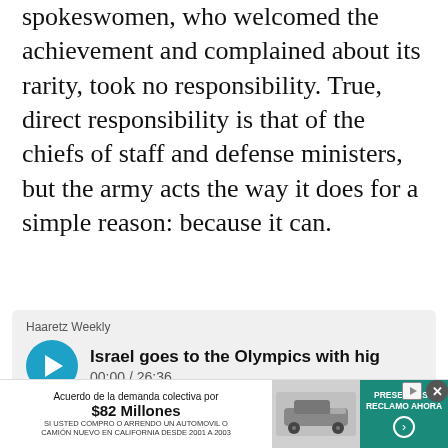spokeswomen, who welcomed the achievement and complained about its rarity, took no responsibility. True, direct responsibility is that of the chiefs of staff and defense ministers, but the army acts the way it does for a simple reason: because it can.
[Figure (other): Audio player widget for Haaretz Weekly podcast titled 'Israel goes to the Olympics with high' showing playback time 00:00 / 26:36 with progress bar and volume control]
[Figure (other): Social media toolbar with Twitter, Facebook, bookmark, and email icons, with a blue circular navigation button in the center]
[Figure (other): Advertisement banner for class action settlement '$82 Millones' for automobile purchases in California 2001-2003, with car image and 'PRESENTE SU RECLAMO AHORA' call to action]